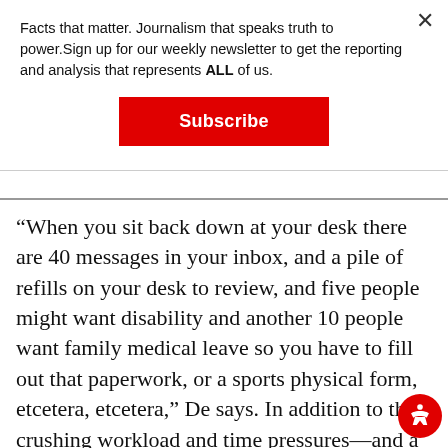Facts that matter. Journalism that speaks truth to power.Sign up for our weekly newsletter to get the reporting and analysis that represents ALL of us.
Subscribe
“When you sit back down at your desk there are 40 messages in your inbox, and a pile of refills on your desk to review, and five people might want disability and another 10 people want family medical leave so you have to fill out that paperwork, or a sports physical form, etcetera, etcetera,” De says. In addition to the crushing workload and time pressures—and a sometimes chaotic work environment due to emergency health dilemmas—there’s a slew of complex t created by health insurance companies. The